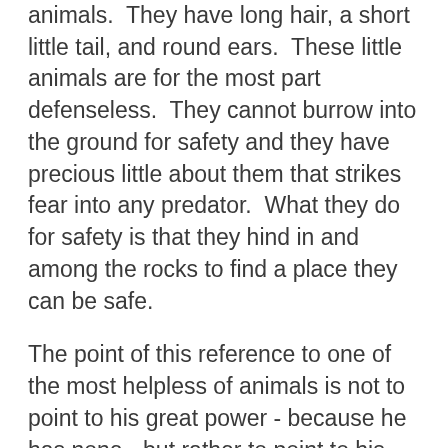animals.  They have long hair, a short little tail, and round ears.  These little animals are for the most part defenseless.  They cannot burrow into the ground for safety and they have precious little about them that strikes fear into any predator.  What they do for safety is that they hind in and among the rocks to find a place they can be safe.
The point of this reference to one of the most helpless of animals is not to point to his great power - because he has none - but rather to point to his wisdom.  He is considered exceedingly wise for taking refuge in the rocks.  The point is to show that he is weak - unable to defend himself - with many natual predators - yet he finds safety in the rocks.  What a great picture for us as men.  The little rock hyrax does have a message of wisdom for us weak men as